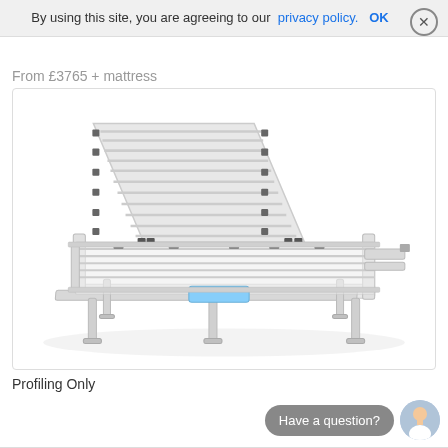By using this site, you are agreeing to our privacy policy.  OK
From £3765 + mattress
[Figure (photo): An adjustable profiling bed frame with white metal slats and legs, shown with the back section raised at an angle. The frame has multiple adjustable legs and a slatted surface.]
Profiling Only
Have a question?